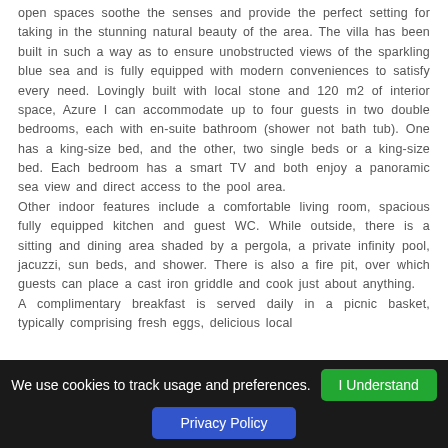open spaces soothe the senses and provide the perfect setting for taking in the stunning natural beauty of the area. The villa has been built in such a way as to ensure unobstructed views of the sparkling blue sea and is fully equipped with modern conveniences to satisfy every need. Lovingly built with local stone and 120 m2 of interior space, Azure I can accommodate up to four guests in two double bedrooms, each with en-suite bathroom (shower not bath tub). One has a king-size bed, and the other, two single beds or a king-size bed. Each bedroom has a smart TV and both enjoy a panoramic sea view and direct access to the pool area. Other indoor features include a comfortable living room, spacious fully equipped kitchen and guest WC. While outside, there is a sitting and dining area shaded by a pergola, a private infinity pool, jacuzzi, sun beds, and shower. There is also a fire pit, over which guests can place a cast iron griddle and cook just about anything. A complimentary breakfast is served daily in a picnic basket, typically comprising fresh eggs, delicious local
We use cookies to track usage and preferences.
I Understand
Privacy Policy